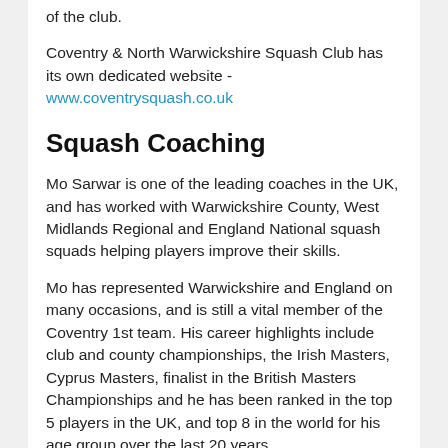of the club.
Coventry & North Warwickshire Squash Club has its own dedicated website - www.coventrysquash.co.uk
Squash Coaching
Mo Sarwar is one of the leading coaches in the UK, and has worked with Warwickshire County, West Midlands Regional and England National squash squads helping players improve their skills.
Mo has represented Warwickshire and England on many occasions, and is still a vital member of the Coventry 1st team. His career highlights include club and county championships, the Irish Masters, Cyprus Masters, finalist in the British Masters Championships and he has been ranked in the top 5 players in the UK, and top 8 in the world for his age group over the last 20 years.
With such an impressive career in the sport, Mo is keen to pass on the passion and skills he's learnt to other players. He offers group and individual coaching sessions to players of all abilities, and runs special Junior coaching sessions on Sunday mornings.